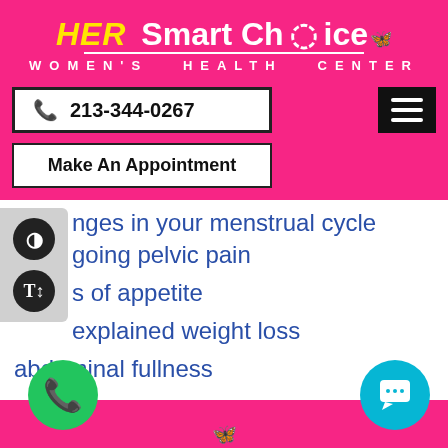HER Smart Choice WOMEN'S HEALTH CENTER
213-344-0267
Make An Appointment
nges in your menstrual cycle
going pelvic pain
s of appetite
explained weight loss
abdominal fullness